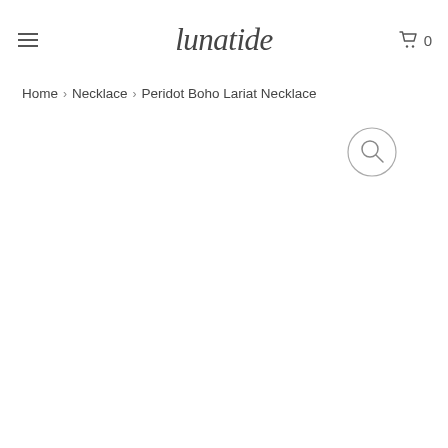lunatide
Home > Necklace > Peridot Boho Lariat Necklace
[Figure (illustration): Magnifying glass / search icon circle button]